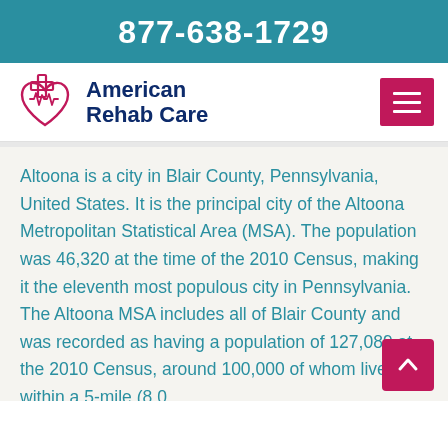877-638-1729
[Figure (logo): American Rehab Care logo with heart and cross icon]
Altoona is a city in Blair County, Pennsylvania, United States. It is the principal city of the Altoona Metropolitan Statistical Area (MSA). The population was 46,320 at the time of the 2010 Census, making it the eleventh most populous city in Pennsylvania. The Altoona MSA includes all of Blair County and was recorded as having a population of 127,089 at the 2010 Census, around 100,000 of whom live within a 5-mile (8.0